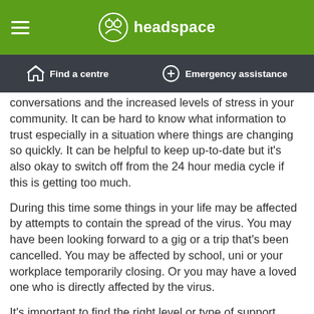headspace
Find a centre | Emergency assistance
conversations and the increased levels of stress in your community. It can be hard to know what information to trust especially in a situation where things are changing so quickly. It can be helpful to keep up-to-date but it's also okay to switch off from the 24 hour media cycle if this is getting too much.
During this time some things in your life may be affected by attempts to contain the spread of the virus. You may have been looking forward to a gig or a trip that's been cancelled. You may be affected by school, uni or your workplace temporarily closing. Or you may have a loved one who is directly affected by the virus.
It's important to find the right level or type of support